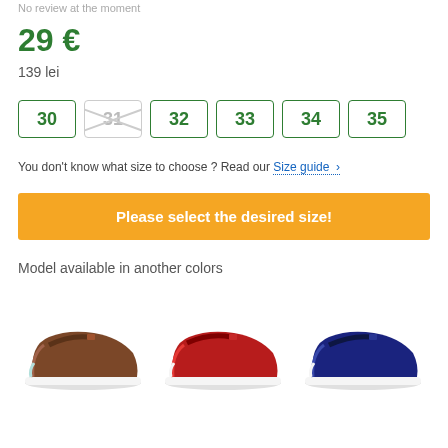No review at the moment
29 €
139 lei
Sizes: 30, 31 (unavailable), 32, 33, 34, 35
You don't know what size to choose ? Read our Size guide >
Please select the desired size!
Model available in another colors
[Figure (photo): Three girls' Mary Jane flat shoes in brown, red, and navy blue colors]
[Figure (photo): Brown Mary Jane flat shoe]
[Figure (photo): Red Mary Jane flat shoe]
[Figure (photo): Navy blue Mary Jane flat shoe]